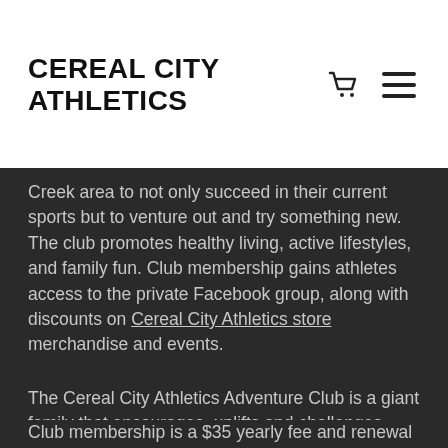CEREAL CITY ATHLETICS
Creek area to not only succeed in their current sports but to venture out and try something new. The club promotes healthy living, active lifestyles, and family fun. Club membership gains athletes access to the private Facebook group, along with discounts on Cereal City Athletics store merchandise and events.
The Cereal City Athletics Adventure Club is a giant family that encourages, uplifts and challenges each other to reach their full potential. Club members enjoy quarterly family outings as well.
Club membership is a $35 yearly fee and renewal